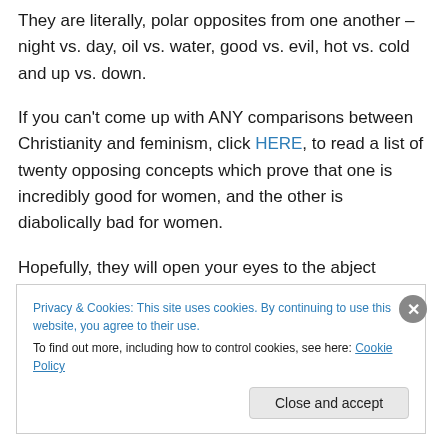They are literally, polar opposites from one another – night vs. day, oil vs. water, good vs. evil, hot vs. cold and up vs. down.
If you can't come up with ANY comparisons between Christianity and feminism, click HERE, to read a list of twenty opposing concepts which prove that one is incredibly good for women, and the other is diabolically bad for women.
Hopefully, they will open your eyes to the abject danger
Privacy & Cookies: This site uses cookies. By continuing to use this website, you agree to their use.
To find out more, including how to control cookies, see here: Cookie Policy